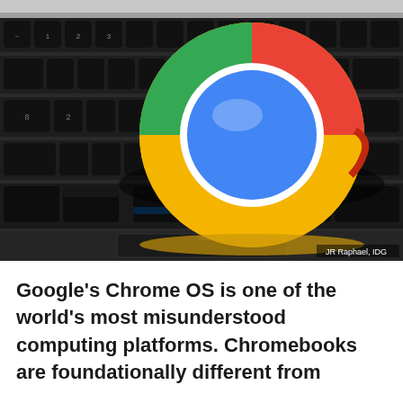[Figure (photo): A physical 3D Google Chrome logo disc (showing the colorful Google Chrome browser icon with red, yellow, green segments and blue center) resting on a dark laptop keyboard. Photo credit: JR Raphael, IDG]
JR Raphael, IDG
Google's Chrome OS is one of the world's most misunderstood computing platforms. Chromebooks are foundationally different from